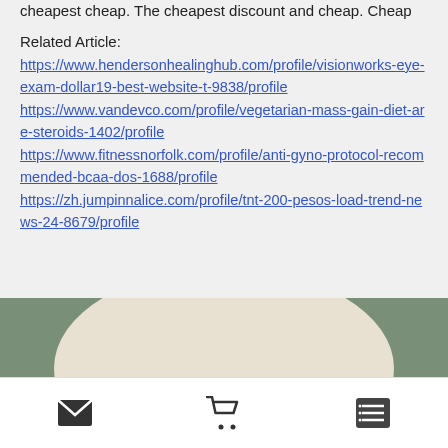cheapest cheap. The cheapest discount and cheap. Cheap
Related Article:
https://www.hendersonhealinghub.com/profile/visionworks-eye-exam-dollar19-best-website-t-9838/profile
https://www.vandevco.com/profile/vegetarian-mass-gain-diet-are-steroids-1402/profile
https://www.fitnessnorfolk.com/profile/anti-gyno-protocol-recommended-bcaa-dos-1688/profile
https://zh.jumpinnalice.com/profile/tnt-200-pesos-load-trend-news-24-8679/profile
[Figure (infographic): Rounded pill-shaped banner on green background with text: Free Shipping over $149, Flat Rate Shipping on all Orders (excluding Kingsley) $9.95 (US Only)]
[Figure (infographic): Footer navigation bar with three icons: envelope/mail icon, shopping cart icon, and list/menu icon]